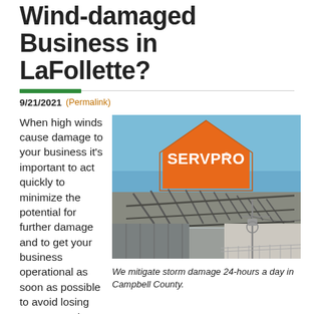Wind-damaged Business in LaFollette?
9/21/2021 (Permalink)
When high winds cause damage to your business it's important to act quickly to minimize the potential for further damage and to get your business operational as soon as possible to avoid losing revenue and productivity. SERVPRO® of
[Figure (photo): SERVPRO logo with house shape in orange, text 'of Campbell, Claiborne, Scott, and Union Counties', phone number 423-562-7378, over a photo of wind-damaged building roof with exposed structure and blue sky]
We mitigate storm damage 24-hours a day in Campbell County.